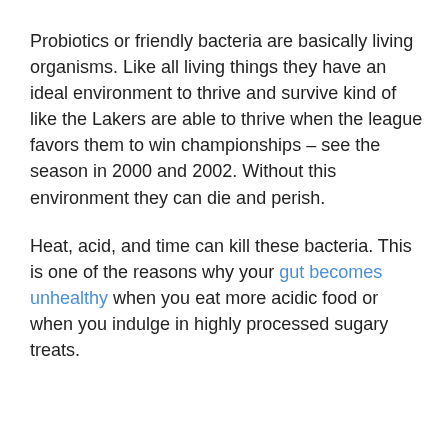Probiotics or friendly bacteria are basically living organisms. Like all living things they have an ideal environment to thrive and survive kind of like the Lakers are able to thrive when the league favors them to win championships – see the season in 2000 and 2002. Without this environment they can die and perish.
Heat, acid, and time can kill these bacteria. This is one of the reasons why your gut becomes unhealthy when you eat more acidic food or when you indulge in highly processed sugary treats.